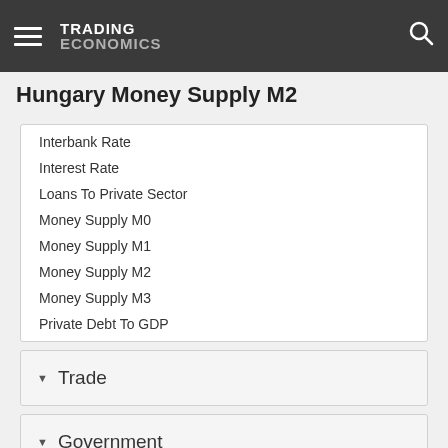TRADING ECONOMICS
Hungary Money Supply M2
Interbank Rate
Interest Rate
Loans To Private Sector
Money Supply M0
Money Supply M1
Money Supply M2
Money Supply M3
Private Debt To GDP
Trade
Government
Business
Consumer